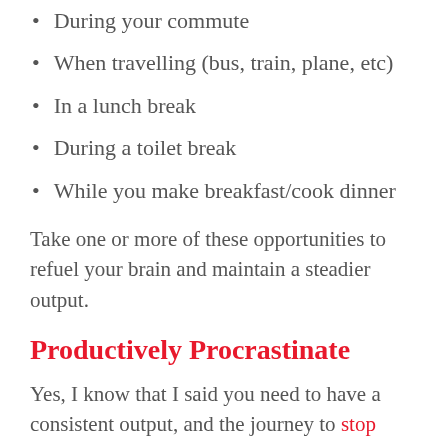During your commute
When travelling (bus, train, plane, etc)
In a lunch break
During a toilet break
While you make breakfast/cook dinner
Take one or more of these opportunities to refuel your brain and maintain a steadier output.
Productively Procrastinate
Yes, I know that I said you need to have a consistent output, and the journey to stop